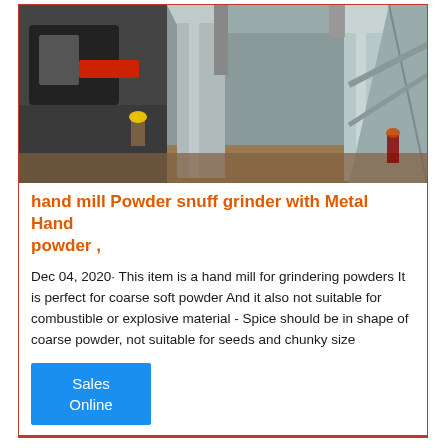[Figure (photo): Industrial photo showing large metal silos/cylinders and steel framework structures with workers visible in a manufacturing or processing facility.]
hand mill Powder snuff grinder with Metal Hand powder ,
Dec 04, 2020· This item is a hand mill for grindering powders It is perfect for coarse soft powder And it also not suitable for combustible or explosive material - Spice should be in shape of coarse powder, not suitable for seeds and chunky size
Sales
Online